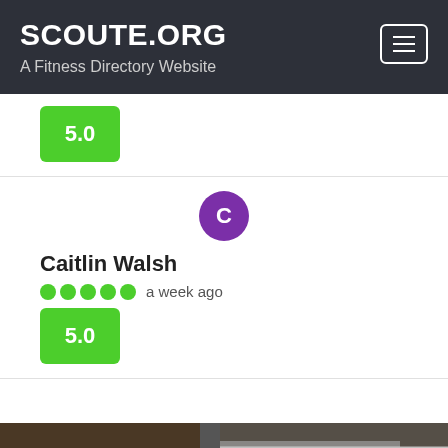SCOUTE.ORG
A Fitness Directory Website
5.0
[Figure (photo): Purple circle avatar with letter C]
Caitlin Walsh
a week ago
5.0
[Figure (photo): Bottom photo strip showing wood/dark background]